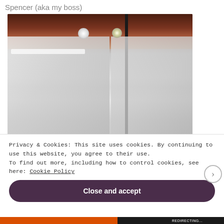Spencer (aka my boss)
[Figure (photo): Interior photo of an office space showing ceiling with dark wood beams, recessed and track lighting, and glass partition walls with visible fluorescent lighting behind]
Privacy & Cookies: This site uses cookies. By continuing to use this website, you agree to their use.
To find out more, including how to control cookies, see here: Cookie Policy
Close and accept